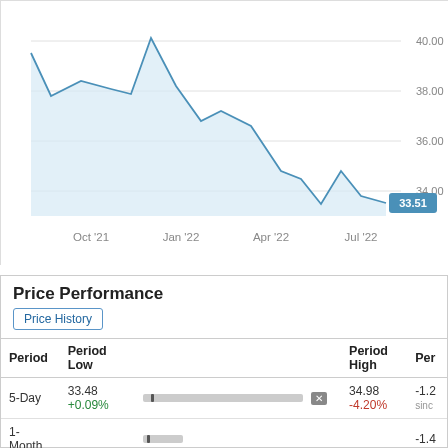[Figure (area-chart): Area chart showing stock price decline from ~39.2 in Aug 2021 to 33.51 in Jul 2022, with y-axis labels 34.00, 36.00, 38.00, 40.00 and a current price tooltip of 33.51]
Price Performance
Price History
| Period | Period Low |  | Period High | Per |
| --- | --- | --- | --- | --- |
| 5-Day | 33.48 +0.09% | [bar] | 34.98 -4.20% | -1.2... sinc |
| 1-Month |  | [marker] |  | -1.4 |